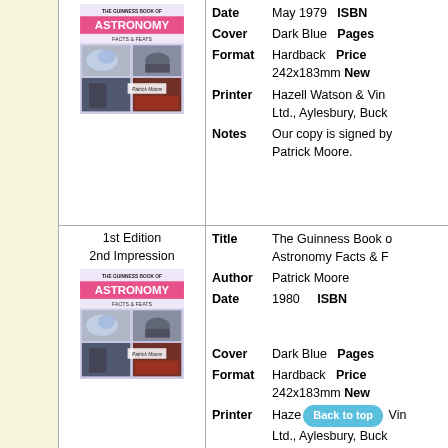| Edition/Cover | Field | Value |
| --- | --- | --- |
|  | Date | May 1979   ISBN |
|  | Cover | Dark Blue   Pages |
|  | Format | Hardback   Price   242x183mm New |
|  | Printer | Hazell Watson & Viney Ltd., Aylesbury, Bucks |
|  | Notes | Our copy is signed by Patrick Moore. |
| 1st Edition 2nd Impression | Title | The Guinness Book of Astronomy Facts & Feats |
|  | Author | Patrick Moore |
|  | Date | 1980   ISBN |
|  | Cover | Dark Blue   Pages |
|  | Format | Hardback   Price   242x183mm New |
|  | Printer | Hazell Watson & Viney Ltd., Aylesbury, Bucks |